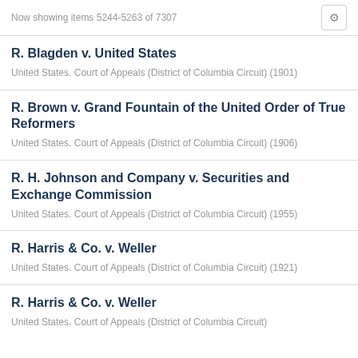Now showing items 5244-5263 of 7307
R. Blagden v. United States
United States. Court of Appeals (District of Columbia Circuit) (1901)
R. Brown v. Grand Fountain of the United Order of True Reformers
United States. Court of Appeals (District of Columbia Circuit) (1906)
R. H. Johnson and Company v. Securities and Exchange Commission
United States. Court of Appeals (District of Columbia Circuit) (1955)
R. Harris & Co. v. Weller
United States. Court of Appeals (District of Columbia Circuit) (1921)
R. Harris & Co. v. Weller
United States. Court of Appeals (District of Columbia Circuit)